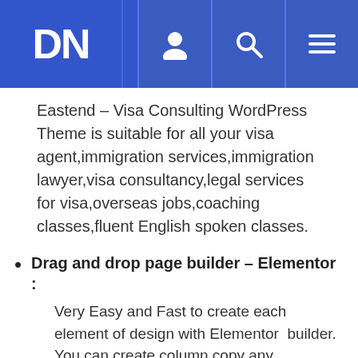DN [logo with person icon, search icon, menu icon]
Eastend – Visa Consulting WordPress Theme is suitable for all your visa agent,immigration services,immigration lawyer,visa consultancy,legal services for visa,overseas jobs,coaching classes,fluent English spoken classes.
Drag and drop page builder – Elementor :
Very Easy and Fast to create each element of design with Elementor builder.
You can create column,copy any element,drap element,custom padding and marging and many more.